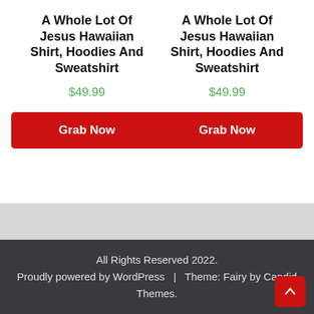A Whole Lot Of Jesus Hawaiian Shirt, Hoodies And Sweatshirt
$49.99
Grab Now
A Whole Lot Of Jesus Hawaiian Shirt, Hoodies And Sweatshirt
$49.99
Grab Now
All Rights Reserved 2022.
Proudly powered by WordPress  |  Theme: Fairy by Candid Themes.